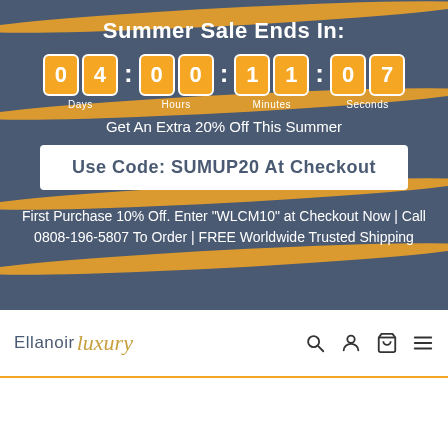Summer Sale Ends In:
04 : 00 : 11 : 07 — Days, Hours, Minutes, Seconds
Get An Extra 20% Off This Summer
Use Code: SUMUP20 At Checkout
First Purchase 10% Off. Enter "WLCM10" at Checkout Now | Call 0808-196-5807 To Order | FREE Worldwide Trusted Shipping
[Figure (logo): Ellanoir Luxury logo with navigation icons (search, account, cart, menu)]